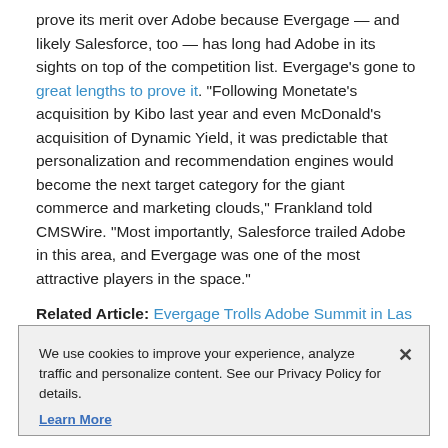prove its merit over Adobe because Evergage — and likely Salesforce, too — has long had Adobe in its sights on top of the competition list. Evergage's gone to great lengths to prove it. "Following Monetate's acquisition by Kibo last year and even McDonald's acquisition of Dynamic Yield, it was predictable that personalization and recommendation engines would become the next target category for the giant commerce and marketing clouds," Frankland told CMSWire. "Most importantly, Salesforce trailed Adobe in this area, and Evergage was one of the most attractive players in the space."
Related Article: Evergage Trolls Adobe Summit in Las
We use cookies to improve your experience, analyze traffic and personalize content. See our Privacy Policy for details. Learn More
Accept
Deny